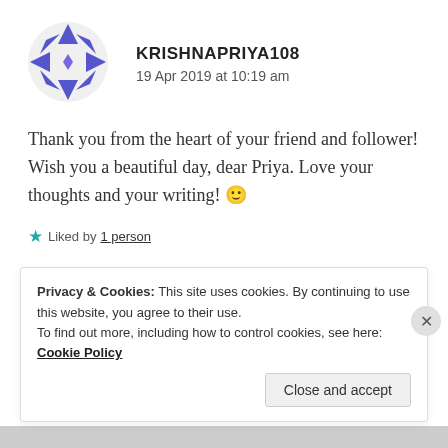[Figure (illustration): Blue geometric snowflake/star avatar for user KRISHNAPRIYA108]
KRISHNAPRIYA108
19 Apr 2019 at 10:19 am
Thank you from the heart of your friend and follower! Wish you a beautiful day, dear Priya. Love your thoughts and your writing! 🙂
★ Liked by 1 person
REPLY
Privacy & Cookies: This site uses cookies. By continuing to use this website, you agree to their use.
To find out more, including how to control cookies, see here: Cookie Policy
Close and accept